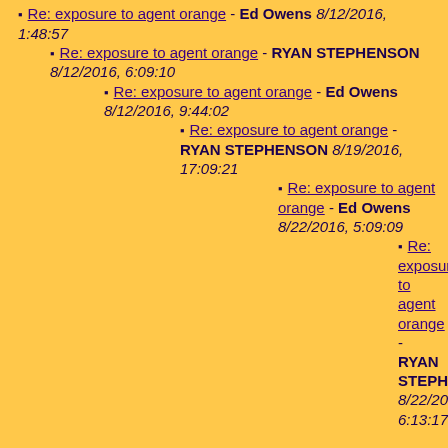Re: exposure to agent orange - Ed Owens 8/12/2016, 1:48:57
Re: exposure to agent orange - RYAN STEPHENSON 8/12/2016, 6:09:10
Re: exposure to agent orange - Ed Owens 8/12/2016, 9:44:02
Re: exposure to agent orange - RYAN STEPHENSON 8/19/2016, 17:09:21
Re: exposure to agent orange - Ed Owens 8/22/2016, 5:09:09
Re: exposure to agent orange - RYAN STEPHENSON 8/22/2016, 6:13:17
Re: exposure to agent orange - Ed Owens 8/22/2016, 10:11:05
Re: exposure to agent orange - ryan stephenson 9/6/2016, 6:59:09
Re: exposure to agent orange - jim 2/20/2016, 11:26:58
Re: exposure to agent orange - roland cadieux (frenchy) 3/8/2016, 13:42:26